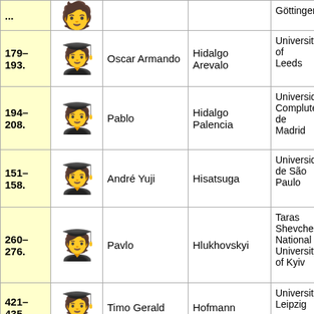| Pages | Photo | First Name | Last Name | University |
| --- | --- | --- | --- | --- |
| ... |  |  |  | Göttingen |
| 179–193. | 🎓 | Oscar Armando | Hidalgo Arevalo | University of Leeds |
| 194–208. | 🎓 | Pablo | Hidalgo Palencia | Universidad Complutense de Madrid |
| 151–158. | 🎓 | André Yuji | Hisatsuga | Universidade de São Paulo |
| 260–276. | 🎓 | Pavlo | Hlukhovskyi | Taras Shevchenko National University of Kyiv |
| 421–435. | 🎓 | Timo Gerald | Hofmann | Universität Leipzig |
| 143–150. | 🎓 | Oles | Holembovskyy | Taras Shevchenko National University of Kyiv |
| 390–... | 🎓 | Bethany Elise | Holmes | University of Sheffield |